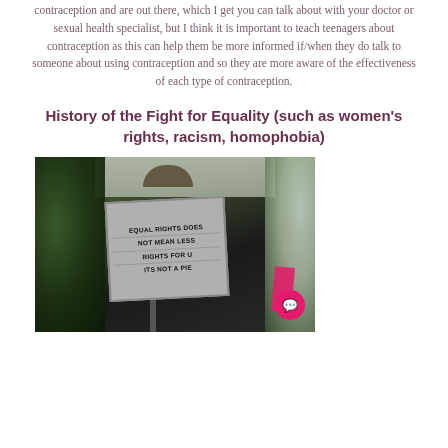contraception and are out there, which I get you can talk about with your doctor or sexual health specialist, but I think it is important to teach teenagers about contraception as this can help them be more informed if/when they do talk to someone about using contraception and so they are more aware of the effectiveness of each type of contraception.
History of the Fight for Equality (such as women's rights, racism, homophobia)
[Figure (photo): A protest photo showing a sign reading 'EQUAL RIGHTS DOES NOT MEAN LESS RIGHTS FOR U ITS NOT A PIE', held up at what appears to be a civil rights or equality rally. Trees visible in the background, a pink banner visible to the right, and a chat bubble icon overlay in the bottom-right corner.]